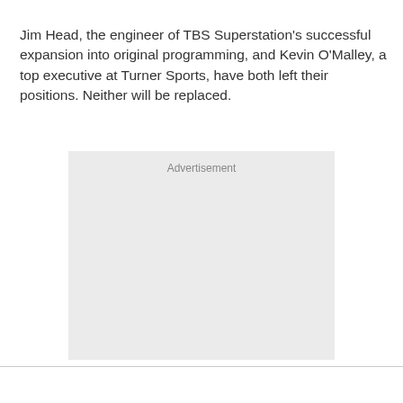Jim Head, the engineer of TBS Superstation's successful expansion into original programming, and Kevin O'Malley, a top executive at Turner Sports, have both left their positions. Neither will be replaced.
[Figure (other): Advertisement placeholder box with light gray background and 'Advertisement' label at top center]